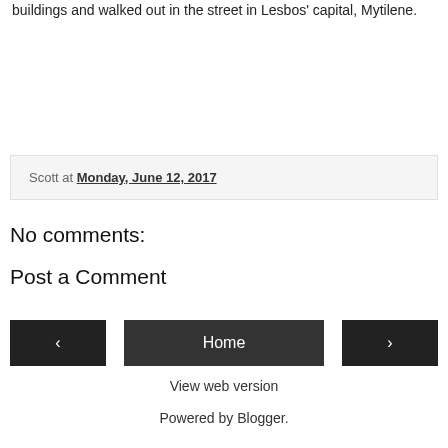buildings and walked out in the street in Lesbos' capital, Mytilene.
Scott at Monday, June 12, 2017
No comments:
Post a Comment
‹  Home  ›
View web version
Powered by Blogger.